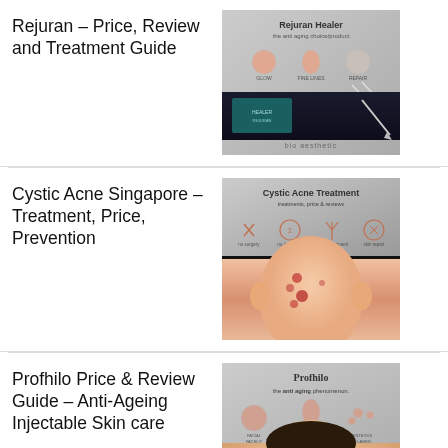Rejuran – Price, Review and Treatment Guide
[Figure (photo): Rejuran Healer product image with anti-aging claim and bio aesthetic branding, showing icons for glow, fine lines, repair, plus product packaging and syringe on dark background]
Cystic Acne Singapore – Treatment, Price, Prevention
[Figure (photo): Cystic Acne Treatment banner showing treatment options (no surgery, no downtime, doctor treatment, skin repair) in top half, and photo of person with cystic acne on face/neck in bottom half]
Profhilo Price & Review Guide – Anti-Ageing Injectable Skin care
[Figure (photo): Profhilo product promotional image with text 'the anti aging phenomenon' and icons for FACIAL FILLER, INTENSE HYDRATION, PLENTEOUS COLLAGEN, partially showing person's head]